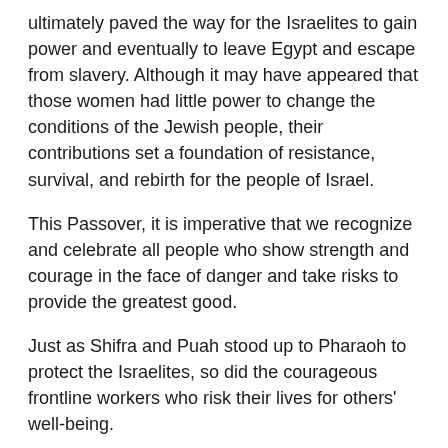ultimately paved the way for the Israelites to gain power and eventually to leave Egypt and escape from slavery. Although it may have appeared that those women had little power to change the conditions of the Jewish people, their contributions set a foundation of resistance, survival, and rebirth for the people of Israel.
This Passover, it is imperative that we recognize and celebrate all people who show strength and courage in the face of danger and take risks to provide the greatest good.
Just as Shifra and Puah stood up to Pharaoh to protect the Israelites, so did the courageous frontline workers who risk their lives for others' well-being.
So, as you sit and recall the four questions and sit back in your chair, I urge you to think about those who may be overlooked.